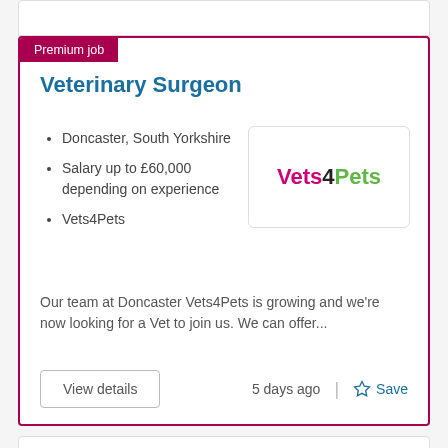Veterinary Surgeon
Doncaster, South Yorkshire
Salary up to £60,000 depending on experience
Vets4Pets
[Figure (logo): Vets4Pets logo with pink 'Vets', black '4', and green 'Pets']
Our team at Doncaster Vets4Pets is growing and we're now looking for a Vet to join us. We can offer...
5 days ago
Veterinary Surgeon | Doncaster | Salary up to £60k | Career progression opportunities